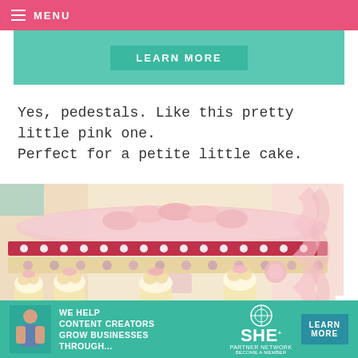MENU
[Figure (other): Teal/mint advertisement banner with LEARN MORE button]
Yes, pedestals. Like this pretty little pink one. Perfect for a petite little cake.
[Figure (photo): Close-up photo of a pink jeweled cake stand/pedestal holding macarons on top, with small cupcakes decorated with pink macarons arranged around the base on a pink plate]
[Figure (other): SHE Partner Network advertisement banner: WE HELP CONTENT CREATORS GROW BUSINESSES THROUGH... with LEARN MORE button]